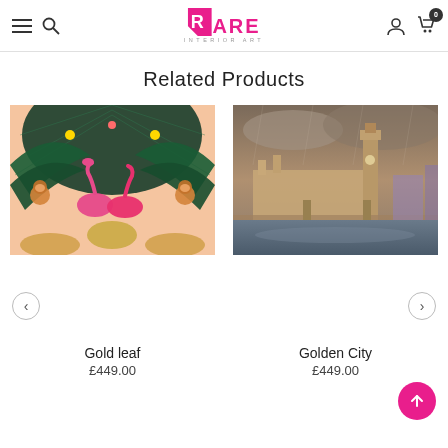RARE INTERIOR ART — navigation header with hamburger menu, search, logo, account, and cart icons
Related Products
[Figure (photo): Colorful tropical art print featuring flamingos, monkeys, leopards, and palm leaves — Gold leaf artwork]
[Figure (photo): Moody atmospheric photo of London's Houses of Parliament and Big Ben at dusk reflected in the Thames — Golden City artwork]
Gold leaf
£449.00
Golden City
£449.00